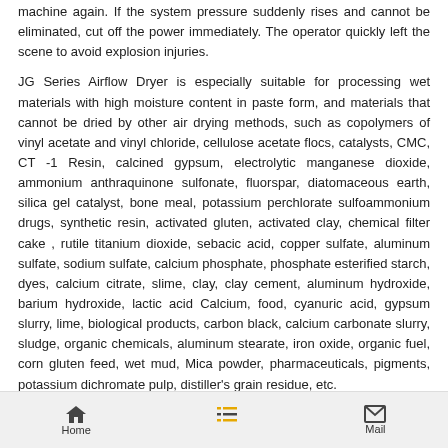machine again. If the system pressure suddenly rises and cannot be eliminated, cut off the power immediately. The operator quickly left the scene to avoid explosion injuries.
JG Series Airflow Dryer is especially suitable for processing wet materials with high moisture content in paste form, and materials that cannot be dried by other air drying methods, such as copolymers of vinyl acetate and vinyl chloride, cellulose acetate flocs, catalysts, CMC, CT -1 Resin, calcined gypsum, electrolytic manganese dioxide, ammonium anthraquinone sulfonate, fluorspar, diatomaceous earth, silica gel catalyst, bone meal, potassium perchlorate sulfoammonium drugs, synthetic resin, activated gluten, activated clay, chemical filter cake , rutile titanium dioxide, sebacic acid, copper sulfate, aluminum sulfate, sodium sulfate, calcium phosphate, phosphate esterified starch, dyes, calcium citrate, slime, clay, clay cement, aluminum hydroxide, barium hydroxide, lactic acid Calcium, food, cyanuric acid, gypsum slurry, lime, biological products, carbon black, calcium carbonate slurry, sludge, organic chemicals, aluminum stearate, iron oxide, organic fuel, corn gluten feed, wet mud, Mica powder, pharmaceuticals, pigments, potassium dichromate pulp, distiller's grain residue, etc.
Air-flow drying can quickly remove moisture (mainly surface water) from easily dehydrated granules and powdery materials. In air-flow drying, due to the short residence time of the material in the dryer, the quality of the dried product is
Home    Mail